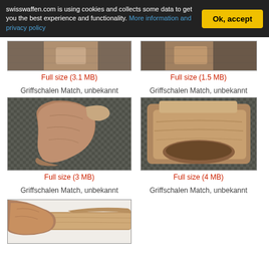swisswaffen.com is using cookies and collects some data to get you the best experience and functionality. More information and privacy policy
[Figure (photo): Partial top of wooden pistol grip (Griffschalen Match), cropped at top of page]
Full size (3.1 MB)
Griffschalen Match, unbekannt
[Figure (photo): Partial top of wooden pistol grip (Griffschalen Match), cropped at top of page]
Full size (1.5 MB)
Griffschalen Match, unbekannt
[Figure (photo): Wooden pistol grip (Griffschalen Match, unbekannt) lying on checkered mat, full grip view]
Full size (3 MB)
Griffschalen Match, unbekannt
[Figure (photo): Close-up of wooden pistol grip bottom/heel (Griffschalen Match, unbekannt) on checkered mat]
Full size (4 MB)
Griffschalen Match, unbekannt
[Figure (photo): Partial wooden grip/stock piece (Griffschalen Match, unbekannt), bottom portion of page]